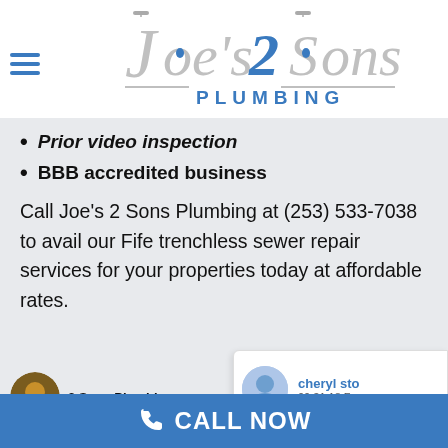[Figure (logo): Joe's 2 Sons Plumbing logo with hamburger menu icon on the left]
Prior video inspection
BBB accredited business
Call Joe's 2 Sons Plumbing at (253) 533-7038 to avail our Fife trenchless sewer repair services for your properties today at affordable rates.
[Figure (screenshot): Partial review cards showing '2 Sons Plumbing' on the left and 'cheryl sto... 00:31 18 F...' on the right with user avatars]
CALL NOW